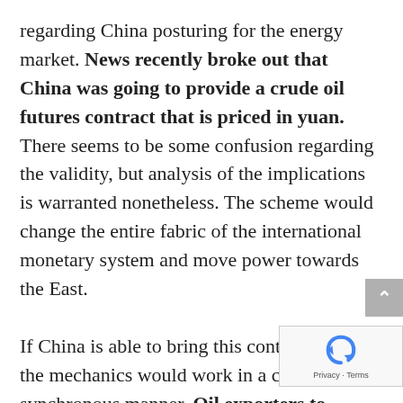regarding China posturing for the energy market. News recently broke out that China was going to provide a crude oil futures contract that is priced in yuan. There seems to be some confusion regarding the validity, but analysis of the implications is warranted nonetheless. The scheme would change the entire fabric of the international monetary system and move power towards the East.

If China is able to bring this contract online, the mechanics would work in a clever but synchronous manner. Oil exporters to China will accept yuan as payment for oil, and as an incentive, the yuan will be